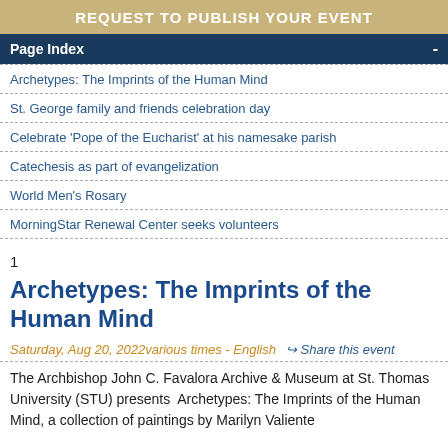REQUEST TO PUBLISH YOUR EVENT
Page Index
Archetypes: The Imprints of the Human Mind
St. George family and friends celebration day
Celebrate 'Pope of the Eucharist' at his namesake parish
Catechesis as part of evangelization
World Men's Rosary
MorningStar Renewal Center seeks volunteers
1
Archetypes: The Imprints of the Human Mind
Saturday, Aug 20, 2022various times - English    Share this event
The Archbishop John C. Favalora Archive & Museum at St. Thomas University (STU) presents  Archetypes: The Imprints of the Human Mind, a collection of paintings by Marilyn Valiente